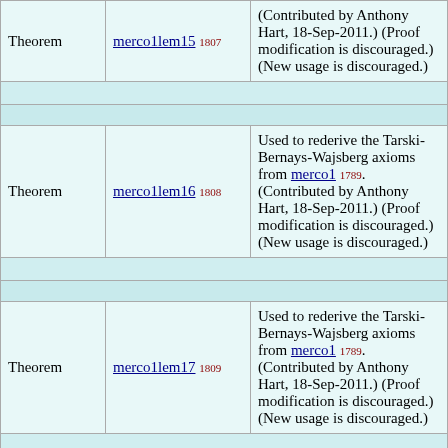| Type | Label | Description |
| --- | --- | --- |
| Theorem | merco1lem15 1807 | (Contributed by Anthony Hart, 18-Sep-2011.) (Proof modification is discouraged.) (New usage is discouraged.) |
| Theorem | merco1lem16 1808 | Used to rederive the Tarski-Bernays-Wajsberg axioms from merco1 1789. (Contributed by Anthony Hart, 18-Sep-2011.) (Proof modification is discouraged.) (New usage is discouraged.) |
| Theorem | merco1lem17 1809 | Used to rederive the Tarski-Bernays-Wajsberg axioms from merco1 1789. (Contributed by Anthony Hart, 18-Sep-2011.) (Proof modification is discouraged.) (New usage is discouraged.) |
| Theorem |  | Used to rederive the Tarski-Bernays-... |